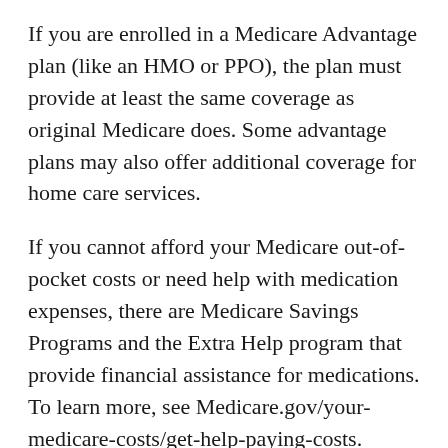If you are enrolled in a Medicare Advantage plan (like an HMO or PPO), the plan must provide at least the same coverage as original Medicare does. Some advantage plans may also offer additional coverage for home care services.
If you cannot afford your Medicare out-of-pocket costs or need help with medication expenses, there are Medicare Savings Programs and the Extra Help program that provide financial assistance for medications. To learn more, see Medicare.gov/your-medicare-costs/get-help-paying-costs.
You can also get help through your State Health Insurance Assistance Program, which provides free Medicare and long-term care counseling.
Savvy Living is written by Jim Miller, a regular